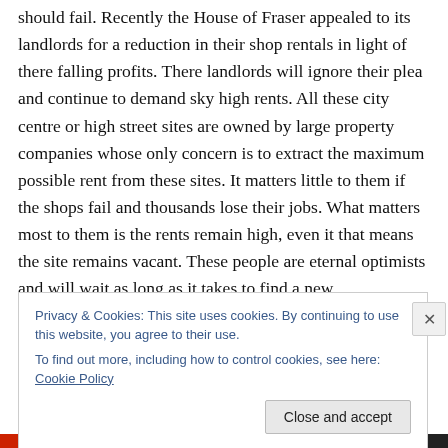should fail. Recently the House of Fraser appealed to its landlords for a reduction in their shop rentals in light of there falling profits. There landlords will ignore their plea and continue to demand sky high rents. All these city centre or high street sites are owned by large property companies whose only concern is to extract the maximum possible rent from these sites. It matters little to them if the shops fail and thousands lose their jobs. What matters most to them is the rents remain high, even it that means the site remains vacant. These people are eternal optimists and will wait as long as it takes to find a new
Privacy & Cookies: This site uses cookies. By continuing to use this website, you agree to their use.
To find out more, including how to control cookies, see here: Cookie Policy
Close and accept